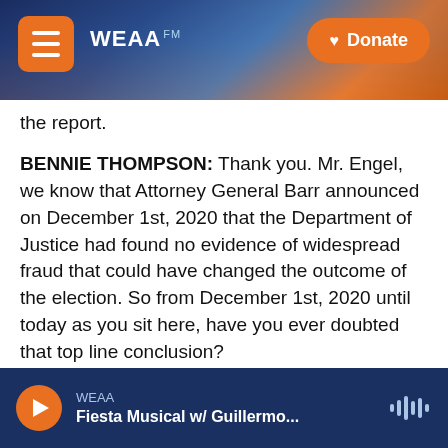WEAA — Donate
the report.
BENNIE THOMPSON: Thank you. Mr. Engel, we know that Attorney General Barr announced on December 1st, 2020 that the Department of Justice had found no evidence of widespread fraud that could have changed the outcome of the election. So from December 1st, 2020 until today as you sit here, have you ever doubted that top line conclusion?
STEVEN ENGEL: No, I've never had any reason to doubt Attorney General Barr's conclusion.
WEAA — Fiesta Musical w/ Guillermo...